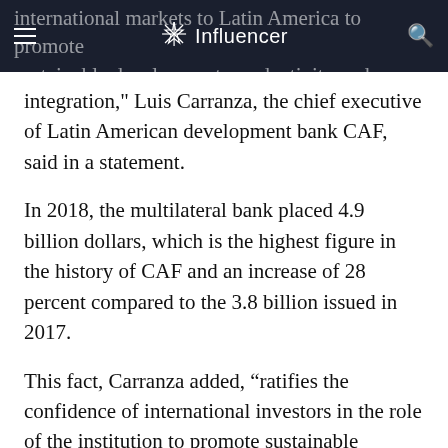Influencer
international markets to Latin America to promote sustainable development, productivity and regional integration," Luis Carranza, the chief executive of Latin American development bank CAF, said in a statement.
In 2018, the multilateral bank placed 4.9 billion dollars, which is the highest figure in the history of CAF and an increase of 28 percent compared to the 3.8 billion issued in 2017.
This fact, Carranza added, “ratifies the confidence of international investors in the role of the institution to promote sustainable development in the region through comprehensive interventions.”
During the past year, the multilateral entity also issued its first green bonds worth 132 million dollars and achieved the largest private placement in its history for an amount of 525